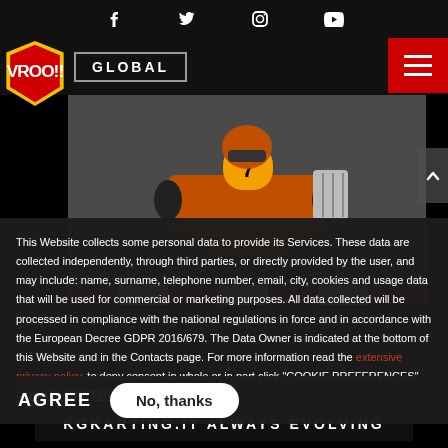Facebook Twitter Instagram YouTube | VROO!! GLOBAL | Menu
[Figure (photo): Go-kart racer with number 7 helmet on track, action shot from behind/side]
This Website collects some personal data to provide its Services. These data are collected independently, through third parties, or directly provided by the user, and may include: name, surname, telephone number, email, city, cookies and usage data that will be used for commercial or marketing purposes. All data collected will be processed in compliance with the national regulations in force and in accordance with the European Decree GDPR 2016/679. The Data Owner is indicated at the bottom of this Website and in the Contacts page. For more information read the extensive privacy policy, to deny consent in whole or in part click "COOKIE PREFERENCES". COOKIE PREFERENCES
AGREE | No, thanks
KGKARTING.IT ALWAYS EVOLVING